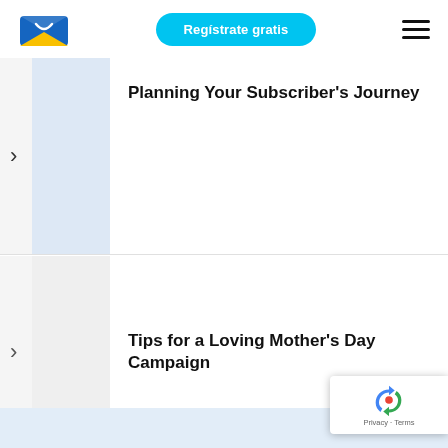[Figure (logo): Sendinblue envelope logo — blue and yellow envelope icon]
Regístrate gratis
[Figure (other): Hamburger menu icon — three horizontal lines]
Planning Your Subscriber's Journey
Tips for a Loving Mother's Day Campaign
[Figure (other): reCAPTCHA badge with Google logo]